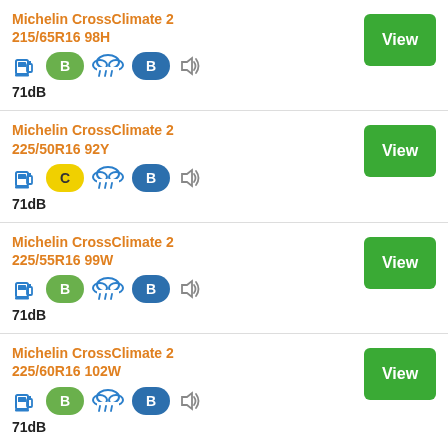Michelin CrossClimate 2
215/65R16 98H
71dB
Michelin CrossClimate 2
225/50R16 92Y
71dB
Michelin CrossClimate 2
225/55R16 99W
71dB
Michelin CrossClimate 2
225/60R16 102W
71dB